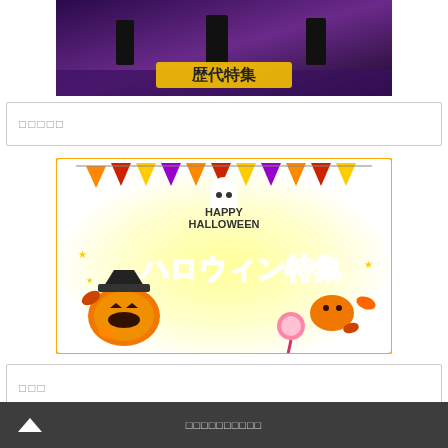[Figure (illustration): Top banner image with dark background showing 歴代特集 (historical special) text in yellow/gold on a purple/dark gradient background with figures]
□□□□□
[Figure (illustration): Halloween special banner - colorful image with 'HAPPY HALLOWEEN' text, bunting flags in orange/purple/red, pumpkins with jack-o-lantern faces, autumn leaves, candy, and large Japanese text ハロウィン特集 (Halloween Special) in purple/dark font on yellow glowing background]
□□□
[Figure (illustration): Partial bottom image showing cooking/food related items, partially cut off]
□□□□□□□□□□